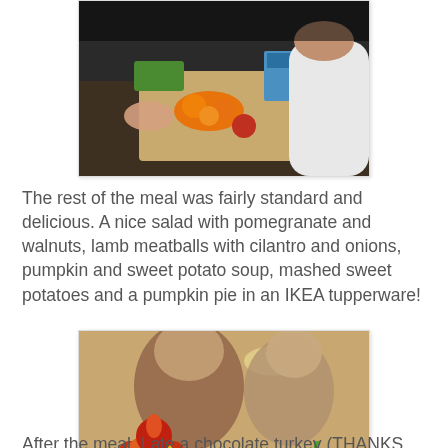[Figure (photo): Overhead view of people preparing food on a cutting board, with vegetables, oranges, and kitchen items visible]
The rest of the meal was fairly standard and delicious. A nice salad with pomegranate and walnuts, lamb meatballs with cilantro and onions, pumpkin and sweet potato soup, mashed sweet potatoes and a pumpkin pie in an IKEA tupperware!
[Figure (photo): Two women smiling at a dining table with a colorful decorative turkey in the foreground and a glass of red drink]
After the meal, I ate a chocolate turkey (THANKS MARY!)